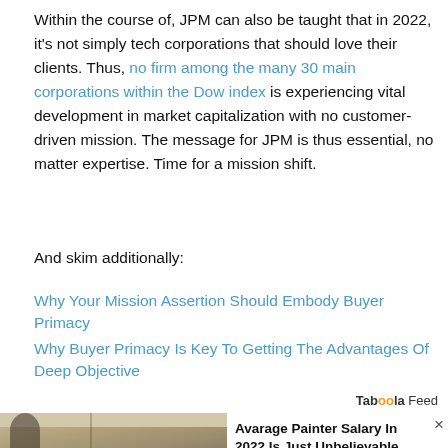Within the course of, JPM can also be taught that in 2022, it's not simply tech corporations that should love their clients. Thus, no firm among the many 30 main corporations within the Dow index is experiencing vital development in market capitalization with no customer-driven mission. The message for JPM is thus essential, no matter expertise. Time for a mission shift.
And skim additionally:
Why Your Mission Assertion Should Embody Buyer Primacy
Why Buyer Primacy Is Key To Getting The Advantages Of Deep Objective
Taboola Feed
[Figure (photo): Photo of a room being painted, showing a person painting walls, with an advertisement overlay for 'Avarage Painter Salary In 2022 Is Just Unbelievable (See List)' from Painters Job | Search Ads | Sponsored]